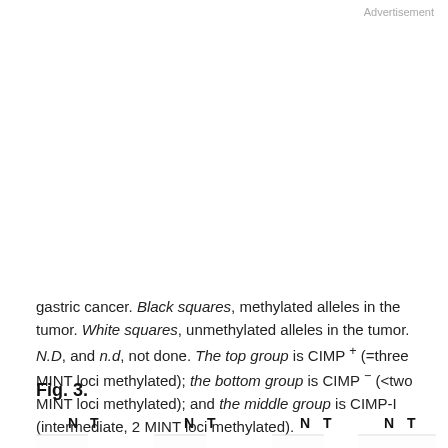Advertisement
gastric cancer. Black squares, methylated alleles in the tumor. White squares, unmethylated alleles in the tumor. N.D, and n.d, not done. The top group is CIMP + (=three MINT loci methylated); the bottom group is CIMP − (<two MINT loci methylated); and the middle group is CIMP-I (intermediate, 2 MINT loci methylated).
Fig. 3.
[Figure (other): Figure 3 partial view showing N T column headers repeated four times across the figure, with watermark overlay from cookie consent banner partially obscuring the figure content below.]